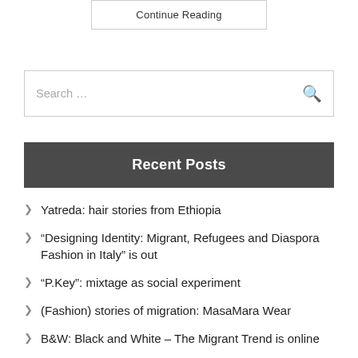Continue Reading
Search …
Recent Posts
Yatreda: hair stories from Ethiopia
“Designing Identity: Migrant, Refugees and Diaspora Fashion in Italy” is out
“P.Key”: mixtage as social experiment
(Fashion) stories of migration: MasaMara Wear
B&W: Black and White – The Migrant Trend is online